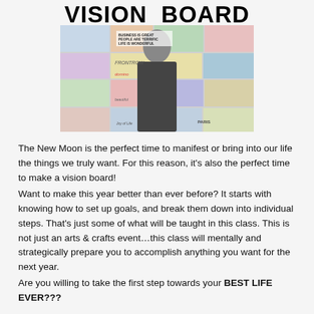[Figure (photo): A person holding a vision board collage filled with magazine cutouts, photos, and text clippings. Bold title text 'VISION BOARD' appears at the top of the image.]
The New Moon is the perfect time to manifest or bring into our life the things we truly want. For this reason, it's also the perfect time to make a vision board!
Want to make this year better than ever before? It starts with knowing how to set up goals, and break them down into individual steps. That's just some of what will be taught in this class. This is not just an arts & crafts event…this class will mentally and strategically prepare you to accomplish anything you want for the next year.
Are you willing to take the first step towards your BEST LIFE EVER???